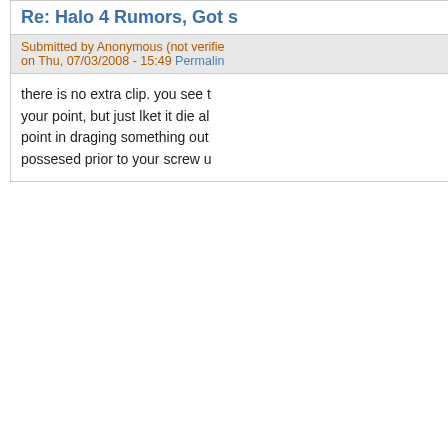Re: Halo 4 Rumors, Got s
Submitted by Anonymous (not verified) on Thu, 07/03/2008 - 15:49 Permalink
there is no extra clip. you see to your point, but just lket it die al point in draging something out possesed prior to your screw u
you know....
Submitted by Anonymous (not v on Wed, 07/09/2008 - 01:16 Pe
I dont think if they do make future because master chi the books)
Re: you know....